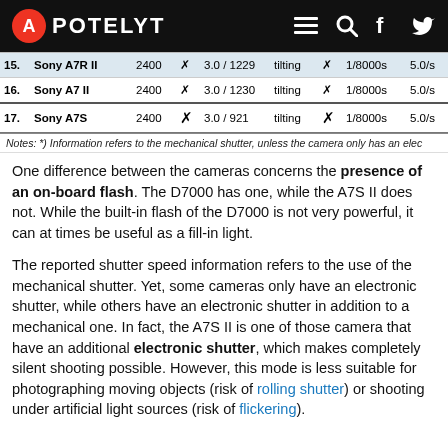APOTELYT
| # | Camera | ISO |  | Resolution | Screen |  | Shutter | fps |
| --- | --- | --- | --- | --- | --- | --- | --- | --- |
| 15. | Sony A7R II | 2400 | ✗ | 3.0 / 1229 | tilting | ✗ | 1/8000s | 5.0/s |
| 16. | Sony A7 II | 2400 | ✗ | 3.0 / 1230 | tilting | ✗ | 1/8000s | 5.0/s |
| 17. | Sony A7S | 2400 | ✗ | 3.0 / 921 | tilting | ✗ | 1/8000s | 5.0/s |
Notes: *) Information refers to the mechanical shutter, unless the camera only has an elec
One difference between the cameras concerns the presence of an on-board flash. The D7000 has one, while the A7S II does not. While the built-in flash of the D7000 is not very powerful, it can at times be useful as a fill-in light.
The reported shutter speed information refers to the use of the mechanical shutter. Yet, some cameras only have an electronic shutter, while others have an electronic shutter in addition to a mechanical one. In fact, the A7S II is one of those camera that have an additional electronic shutter, which makes completely silent shooting possible. However, this mode is less suitable for photographing moving objects (risk of rolling shutter) or shooting under artificial light sources (risk of flickering).